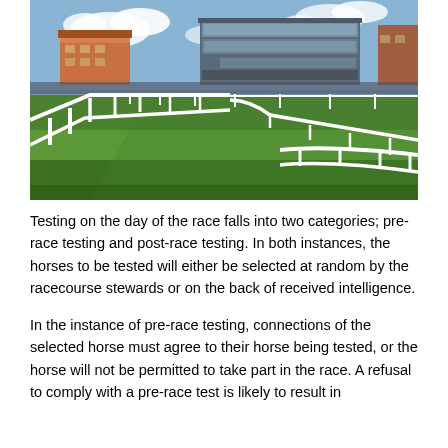[Figure (photo): A horse racing track with white rail fencing extending into the distance. In the background are grandstand buildings filled with spectators. Green grass covers the infield.]
Testing on the day of the race falls into two categories; pre-race testing and post-race testing. In both instances, the horses to be tested will either be selected at random by the racecourse stewards or on the back of received intelligence.
In the instance of pre-race testing, connections of the selected horse must agree to their horse being tested, or the horse will not be permitted to take part in the race. A refusal to comply with a pre-race test is likely to result in